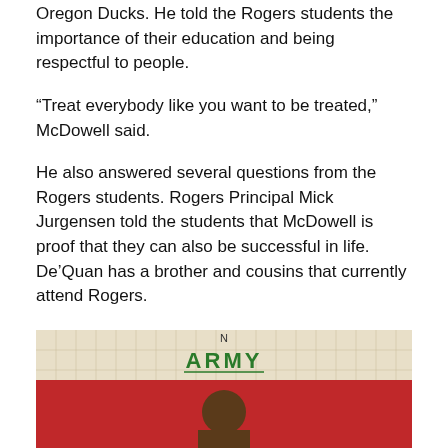Oregon Ducks. He told the Rogers students the importance of their education and being respectful to people.
“Treat everybody like you want to be treated,” McDowell said.
He also answered several questions from the Rogers students. Rogers Principal Mick Jurgensen told the students that McDowell is proof that they can also be successful in life. De’Quan has a brother and cousins that currently attend Rogers.
McDowell is studying business and economics at Oregon and hopes to be a business owner in the future.
[Figure (photo): Photo of a person standing in front of a red display board with the word ARMY written in green letters above it, against a grid/graph paper background.]